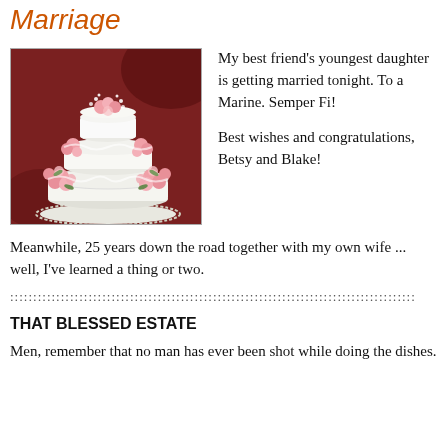Marriage
[Figure (photo): A three-tiered white wedding cake decorated with pink roses and baby's breath on a lace doily, set against a dark red velvet background.]
My best friend's youngest daughter is getting married tonight. To a Marine. Semper Fi!

Best wishes and congratulations, Betsy and Blake!
Meanwhile, 25 years down the road together with my own wife ... well, I've learned a thing or two.
::::::::::::::::::::::::::::::::::::::::::::::::::::::::::::::::::::::::::::::::::::::::
THAT BLESSED ESTATE
Men, remember that no man has ever been shot while doing the dishes.